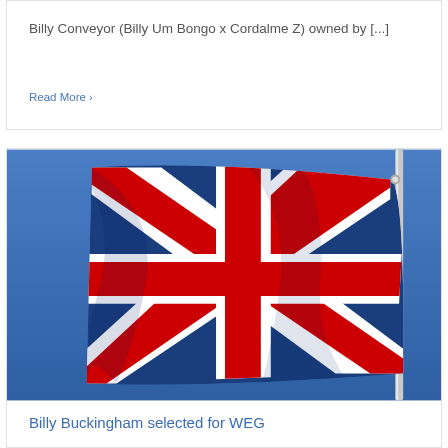Billy Conveyor (Billy Um Bongo x Cordalme Z) owned by [...]
Read More >
[Figure (photo): A Union Jack (UK flag) waving on a flagpole against a clear blue sky]
Billy Buckingham selected for WEG